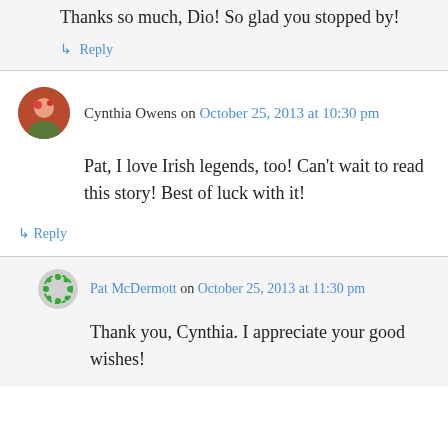Thanks so much, Dio! So glad you stopped by!
↳ Reply
Cynthia Owens on October 25, 2013 at 10:30 pm
Pat, I love Irish legends, too! Can't wait to read this story! Best of luck with it!
↳ Reply
Pat McDermott on October 25, 2013 at 11:30 pm
Thank you, Cynthia. I appreciate your good wishes!